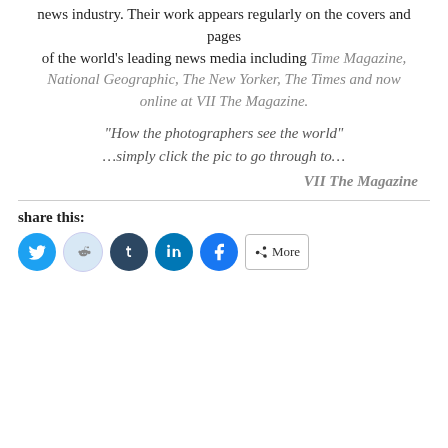news industry. Their work appears regularly on the covers and pages of the world's leading news media including Time Magazine, National Geographic, The New Yorker, The Times and now online at VII The Magazine.
“How the photographers see the world”
…simply click the pic to go through to…
VII The Magazine
share this: